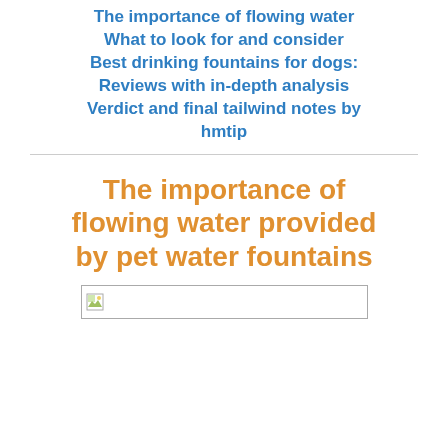The importance of flowing water
What to look for and consider
Best drinking fountains for dogs: Reviews with in-depth analysis
Verdict and final tailwind notes by hmtip
The importance of flowing water provided by pet water fountains
[Figure (other): Broken/placeholder image thumbnail in a bordered rectangle]